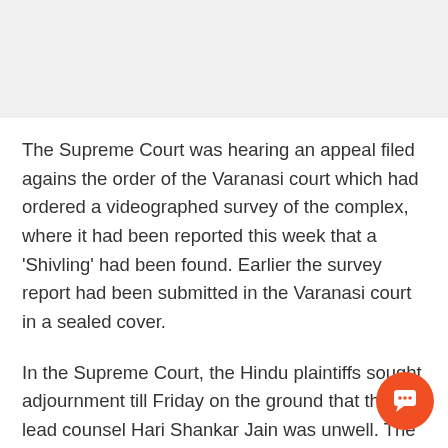The Supreme Court was hearing an appeal filed agains the order of the Varanasi court which had ordered a videographed survey of the complex, where it had been reported this week that a 'Shivling' had been found. Earlier the survey report had been submitted in the Varanasi court in a sealed cover.
In the Supreme Court, the Hindu plaintiffs sought adjournment till Friday on the ground that their lead counsel Hari Shankar Jain was unwell. The mosque management committee today sought the